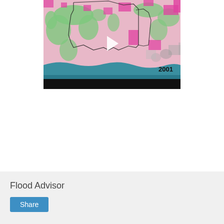[Figure (map): A land-use/land-cover map showing coastal region with pink (urban/developed), green (vegetation/forest), teal/blue (water), and gray/dotted (other land) areas. A black boundary polygon is overlaid. The year '2001' is labeled at the bottom-right. A video play button (triangle) is overlaid in the center. A black progress bar is at the bottom of the video frame.]
Flood Advisor
Share